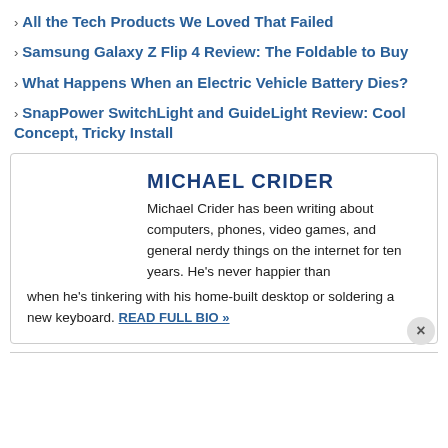› All the Tech Products We Loved That Failed
› Samsung Galaxy Z Flip 4 Review: The Foldable to Buy
› What Happens When an Electric Vehicle Battery Dies?
› SnapPower SwitchLight and GuideLight Review: Cool Concept, Tricky Install
MICHAEL CRIDER
Michael Crider has been writing about computers, phones, video games, and general nerdy things on the internet for ten years. He's never happier than when he's tinkering with his home-built desktop or soldering a new keyboard. READ FULL BIO »